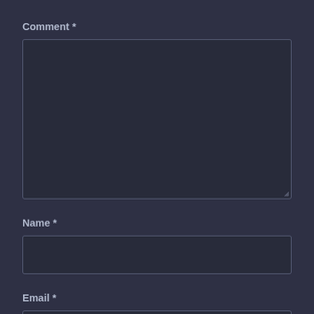Comment *
[Figure (other): Large comment textarea field, dark background with border, resize handle at bottom right]
Name *
[Figure (other): Single-line Name input field, dark background with border]
Email *
[Figure (other): Single-line Email input field, dark background with border, partially visible]